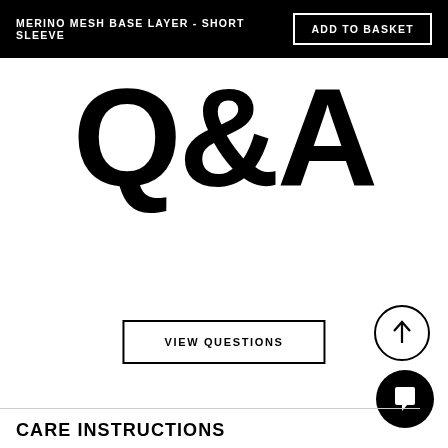MERINO MESH BASE LAYER - SHORT SLEEVE | ADD TO BASKET
Q&A
VIEW QUESTIONS
CARE INSTRUCTIONS